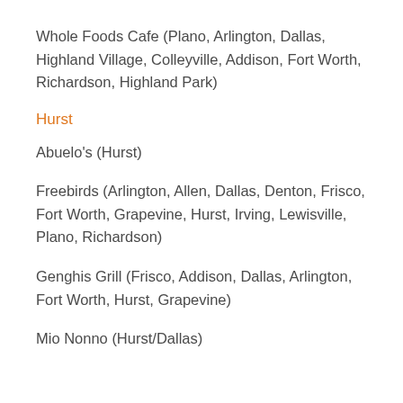Whole Foods Cafe (Plano, Arlington, Dallas, Highland Village, Colleyville, Addison, Fort Worth, Richardson, Highland Park)
Hurst
Abuelo's (Hurst)
Freebirds (Arlington, Allen, Dallas, Denton, Frisco, Fort Worth, Grapevine, Hurst, Irving, Lewisville, Plano, Richardson)
Genghis Grill (Frisco, Addison, Dallas, Arlington, Fort Worth, Hurst, Grapevine)
Mio Nonno (Hurst/Dallas)